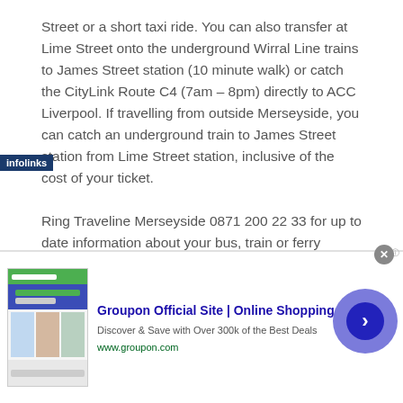Street or a short taxi ride. You can also transfer at Lime Street onto the underground Wirral Line trains to James Street station (10 minute walk) or catch the CityLink Route C4 (7am – 8pm) directly to ACC Liverpool. If travelling from outside Merseyside, you can catch an underground train to James Street station from Lime Street station, inclusive of the cost of your ticket.

Ring Traveline Merseyside 0871 200 22 33 for up to date information about your bus, train or ferry service. The Traveline is open from 0800
[Figure (screenshot): Advertisement banner: Groupon Official Site | Online Shopping Deals. Discover & Save with Over 300k of the Best Deals. www.groupon.com. With infolinks badge and navigation arrow button.]